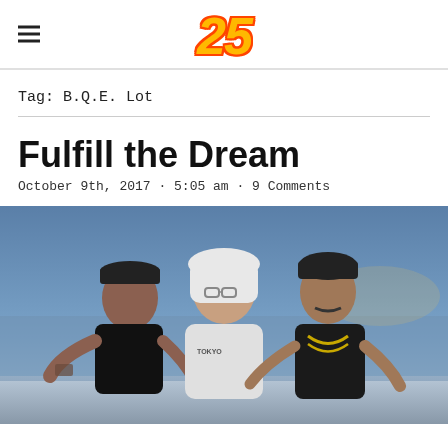25
Tag: B.Q.E. Lot
Fulfill the Dream
October 9th, 2017 · 5:05 am · 9 Comments
[Figure (photo): Three men posing outdoors near a beach/waterfront. Left: man in black cap and dark outfit with tattoos gesturing with hands. Center: man in white hoodie with glasses. Right: man in black beanie and leather jacket with gold chain making hand gestures.]